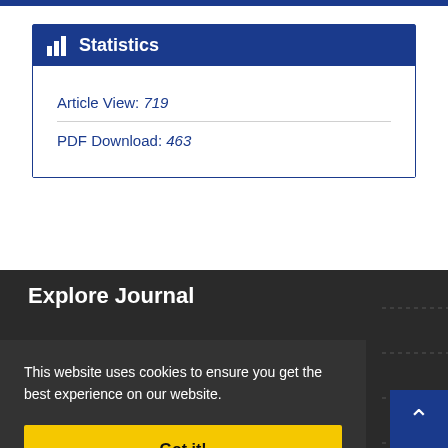Statistics
Article View: 719
PDF Download: 463
Explore Journal
This website uses cookies to ensure you get the best experience on our website.
Got it!